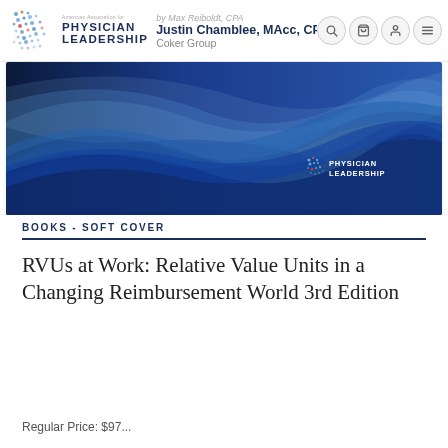American Association for Physician Leadership
by Max Reiboldt, CPA
Justin Chamblee, MAcc, CPA
Coker Group
[Figure (illustration): Blue wave design banner with Physician Leadership logo in lower right corner]
BOOKS - SOFT COVER
RVUs at Work: Relative Value Units in a Changing Reimbursement World 3rd Edition
Regular Price: $97...